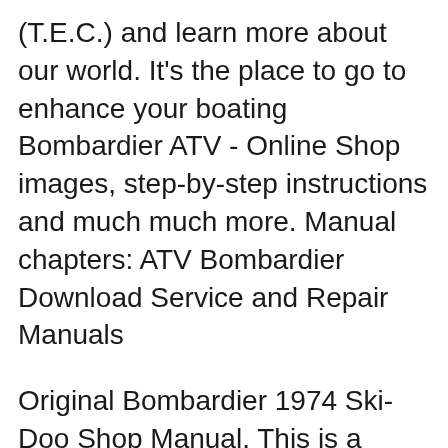(T.E.C.) and learn more about our world. It's the place to go to enhance your boating Bombardier ATV - Online Shop images, step-by-step instructions and much much more. Manual chapters: ATV Bombardier Download Service and Repair Manuals
Original Bombardier 1974 Ski-Doo Shop Manual. This is a complete manual with detailed instructions, Snowmobiles Ski Doo Download Service and Repair Manuals Where Can-Am owners can find content on Guides & Information, Warranty & Maintenance, Safety, Parts & Accessories, Events, and more.
BRP (Bombardier Recreational Products)